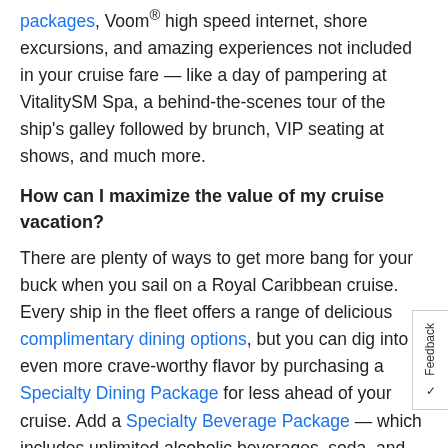packages, Voom® high speed internet, shore excursions, and amazing experiences not included in your cruise fare — like a day of pampering at VitalitySM Spa, a behind-the-scenes tour of the ship's galley followed by brunch, VIP seating at shows, and much more.
How can I maximize the value of my cruise vacation?
There are plenty of ways to get more bang for your buck when you sail on a Royal Caribbean cruise. Every ship in the fleet offers a range of delicious complimentary dining options, but you can dig into even more crave-worthy flavor by purchasing a Specialty Dining Package for less ahead of your cruise. Add a Specialty Beverage Package — which includes unlimited alcoholic beverages, soda, and more — and your